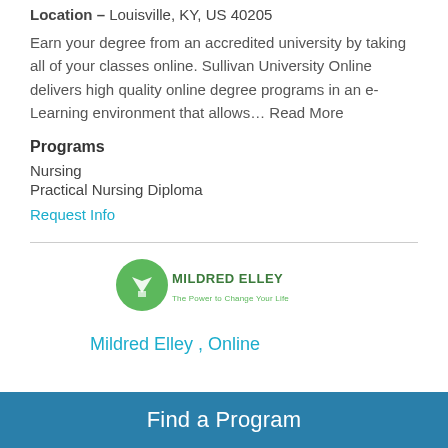Location – Louisville, KY, US 40205
Earn your degree from an accredited university by taking all of your classes online. Sullivan University Online delivers high quality online degree programs in an e-Learning environment that allows… Read More
Programs
Nursing
Practical Nursing Diploma
Request Info
[Figure (logo): Mildred Elley logo with green circular icon and tagline 'The Power to Change Your Life']
Mildred Elley , Online
Find a Program